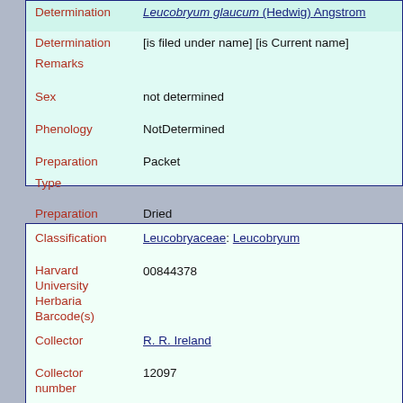| Field | Value |
| --- | --- |
| Determination | Leucobryum glaucum (Hedwig) Angstrom [is filed under name] [is Current name] |
| Determination Remarks |  |
| Sex | not determined |
| Phenology | NotDetermined |
| Preparation Type | Packet |
| Preparation Method | Dried |
| Field | Value |
| --- | --- |
| Classification | Leucobryaceae: Leucobryum |
| Harvard University Herbaria Barcode(s) | 00844378 |
| Collector | R. R. Ireland |
| Collector number | 12097 |
| Country | Canada |
| State | Nova Scotia |
| Geography | North America: North America (CA, US, MX) (Region): |